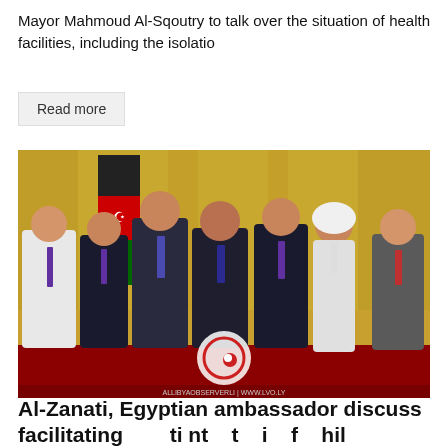Mayor Mahmoud Al-Sqoutry to talk over the situation of health facilities, including the isolatio
Read more
[Figure (photo): Group photo of seven people standing together in a formal meeting room with gold curtains and a Libyan flag in the background, with a watermark circle logo in the lower center.]
Al-Zanati, Egyptian ambassador discuss facilitating ti nt t i f hil